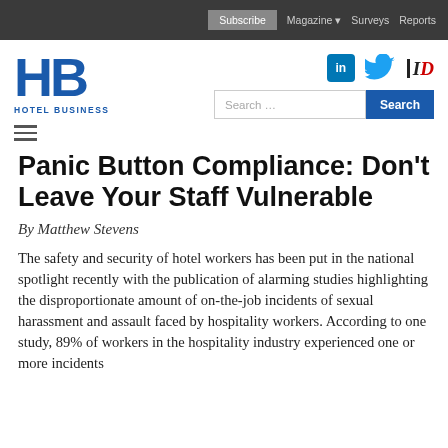Subscribe  Magazine ▾  Surveys  Reports
[Figure (logo): HB Hotel Business logo in blue]
[Figure (other): Social media icons: LinkedIn, Twitter, ID]
Panic Button Compliance: Don't Leave Your Staff Vulnerable
By Matthew Stevens
The safety and security of hotel workers has been put in the national spotlight recently with the publication of alarming studies highlighting the disproportionate amount of on-the-job incidents of sexual harassment and assault faced by hospitality workers. According to one study, 89% of workers in the hospitality industry experienced one or more incidents